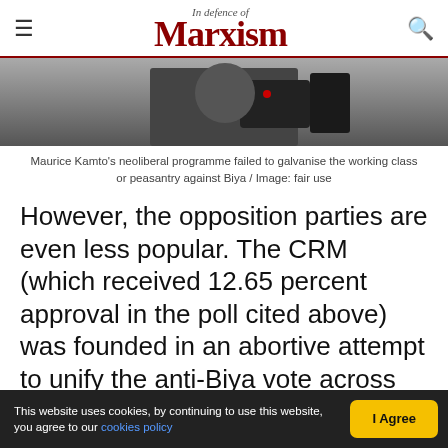In defence of Marxism
[Figure (photo): Person in dark clothing with electronic device, partially visible from shoulders up, dark background]
Maurice Kamto's neoliberal programme failed to galvanise the working class or peasantry against Biya / Image: fair use
However, the opposition parties are even less popular. The CRM (which received 12.65 percent approval in the poll cited above) was founded in an abortive attempt to unify the anti-Biya vote across ethnic, language and class lines. Its 2008 founding document, “Visions of Society” is a vague and confusing jumble of nationalist, populist and liberal ideas, with no clear political or economic
This website uses cookies, by continuing to use this website, you agree to our cookies policy | I Agree